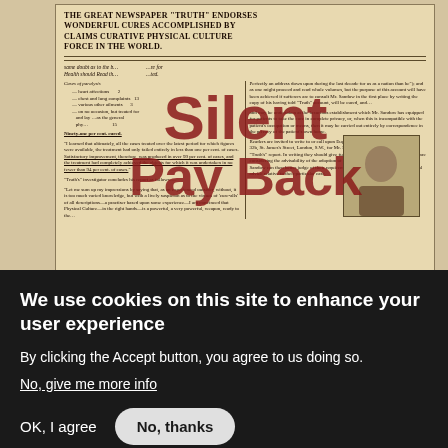[Figure (photo): Scanned historical newspaper page with headline about 'Truth' newspaper endorsing physical culture cures, overlaid with large red 'Silent Pay Back' watermark text. Includes a portrait photograph in the lower right corner.]
We use cookies on this site to enhance your user experience
By clicking the Accept button, you agree to us doing so.
No, give me more info
OK, I agree
No, thanks